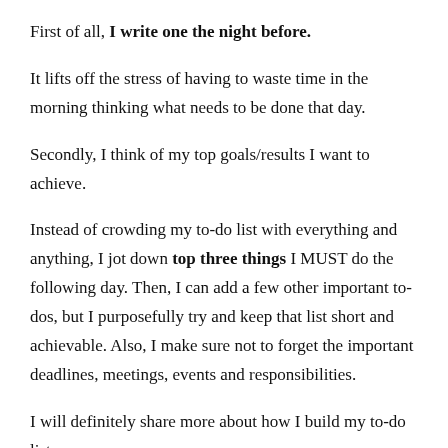First of all, I write one the night before.
It lifts off the stress of having to waste time in the morning thinking what needs to be done that day.
Secondly, I think of my top goals/results I want to achieve.
Instead of crowding my to-do list with everything and anything, I jot down top three things I MUST do the following day. Then, I can add a few other important to-dos, but I purposefully try and keep that list short and achievable. Also, I make sure not to forget the important deadlines, meetings, events and responsibilities.
I will definitely share more about how I build my to-do list